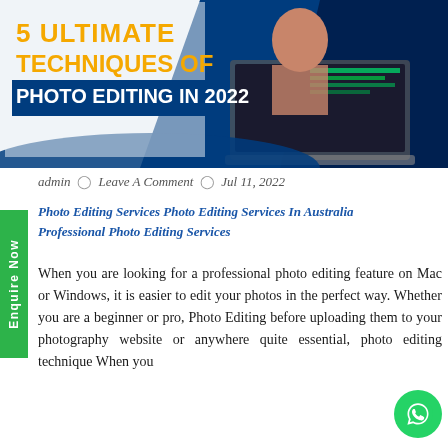[Figure (illustration): Hero banner for blog post titled '5 Ultimate Techniques of Photo Editing in 2022'. Left side shows bold yellow and white text on light/blue background. Right side shows a woman using a laptop with photo editing software on screen.]
admin  ○  Leave A Comment  ⊙  Jul 11, 2022
Photo Editing Services Photo Editing Services In Australia Professional Photo Editing Services
When you are looking for a professional photo editing feature on Mac or Windows, it is easier to edit your photos in the perfect way. Whether you are a beginner or pro, Photo Editing before uploading them to your photography website or anywhere quite essential, photo editing technique When you